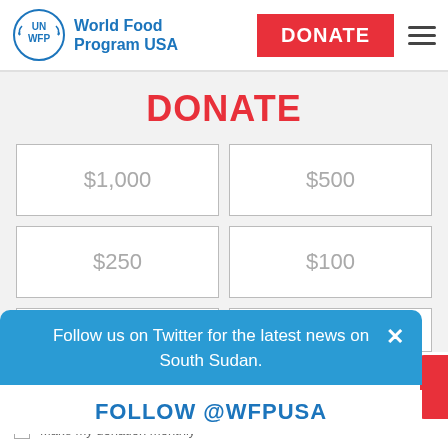[Figure (logo): UN WFP logo with laurel wreath circle and text 'World Food Program USA' in blue]
DONATE
$1,000
$500
$250
$100
Follow us on Twitter for the latest news on South Sudan.
FOLLOW @WFPUSA
Make my donation monthly